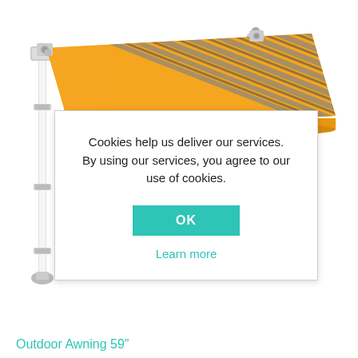[Figure (illustration): Outdoor retractable awning with orange and grey stripes, mounted on a vertical pole, shown extended from upper right to lower left against a white background.]
Cookies help us deliver our services. By using our services, you agree to our use of cookies.
OK
Learn more
Outdoor Awning 59"